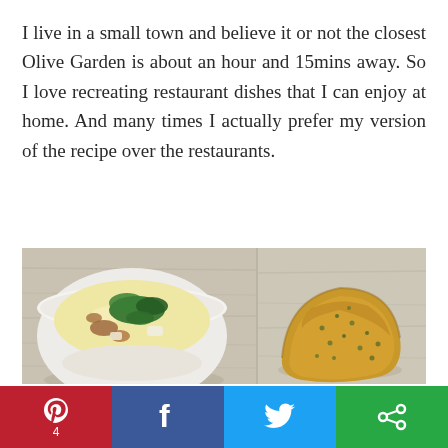I live in a small town and believe it or not the closest Olive Garden is about an hour and 15mins away. So I love recreating restaurant dishes that I can enjoy at home. And many times I actually prefer my version of the recipe over the restaurants.
[Figure (photo): A bowl of creamy soup with kale and sausage (resembling Olive Garden Zuppa Toscana) on the left, and a slice of toasted garlic bread on the right, both on a light wooden surface.]
Pinterest 4 | Facebook | Twitter | Share